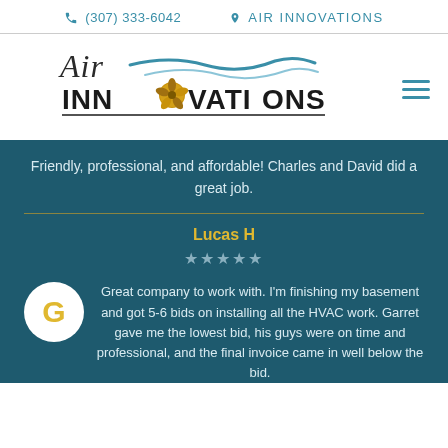(307) 333-6042   AIR INNOVATIONS
[Figure (logo): Air Innovations logo with cursive 'Air' text, blue wave swoosh, and bold 'INNOVATIONS' text with gold fan icon replacing the O]
Friendly, professional, and affordable! Charles and David did a great job.
Lucas H
★★★★★
Great company to work with. I'm finishing my basement and got 5-6 bids on installing all the HVAC work. Garret gave me the lowest bid, his guys were on time and professional, and the final invoice came in well below the bid.